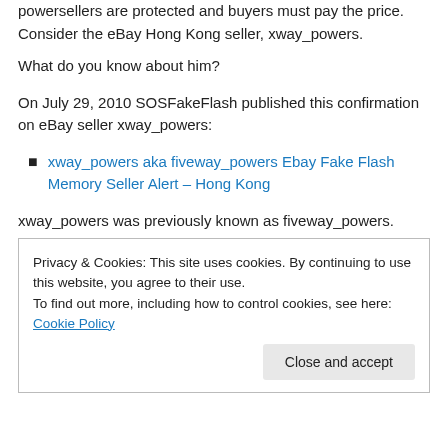powersellers are protected and buyers must pay the price. Consider the eBay Hong Kong seller, xway_powers.
What do you know about him?
On July 29, 2010 SOSFakeFlash published this confirmation on eBay seller xway_powers:
xway_powers aka fiveway_powers Ebay Fake Flash Memory Seller Alert – Hong Kong
xway_powers was previously known as fiveway_powers.
Privacy & Cookies: This site uses cookies. By continuing to use this website, you agree to their use.
To find out more, including how to control cookies, see here: Cookie Policy
Close and accept